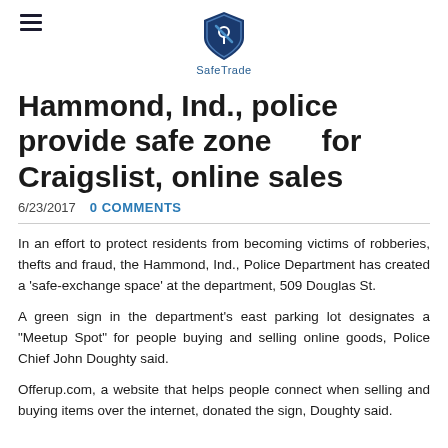SafeTrade
Hammond, Ind., police provide safe zone      for Craigslist, online sales
6/23/2017   0 COMMENTS
In an effort to protect residents from becoming victims of robberies, thefts and fraud, the Hammond, Ind., Police Department has created a 'safe-exchange space' at the department, 509 Douglas St.
A green sign in the department's east parking lot designates a "Meetup Spot" for people buying and selling online goods, Police Chief John Doughty said.
Offerup.com, a website that helps people connect when selling and buying items over the internet, donated the sign, Doughty said.